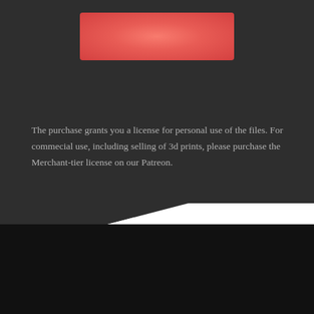[Figure (other): Red/pink rounded button element against dark background]
The purchase grants you a license for personal use of the files. For commecial use, including selling of 3d prints, please purchase the Merchant-tier license on our Patreon.
We use cookies on our website to give you the most relevant experience by remembering your preferences and repeat visits. By clicking “Accept”, you consent to the use of ALL the cookies.
Cookie settings
ACCEPT